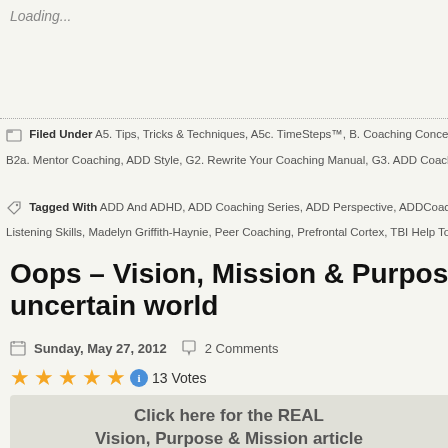Loading...
Filed Under A5. Tips, Tricks & Techniques, A5c. TimeSteps™, B. Coaching Concerns, B1. ADDCoach… B2a. Mentor Coaching, ADD Style, G2. Rewrite Your Coaching Manual, G3. ADD Coaching Secrets, G5b. T…
Tagged With ADD And ADHD, ADD Coaching Series, ADD Perspective, ADDCoaching, Brain-Based C… Listening Skills, Madelyn Griffith-Haynie, Peer Coaching, Prefrontal Cortex, TBI Help Too, Time And Task M…
Oops – Vision, Mission & Purpose – a… uncertain world
Sunday, May 27, 2012  2 Comments
13 Votes
Click here for the REAL Vision, Purpose & Mission article
© Developing by Madelyn Griff…
It was brought to my attention that I had SOME… post an article written in May 2013 with the 201…